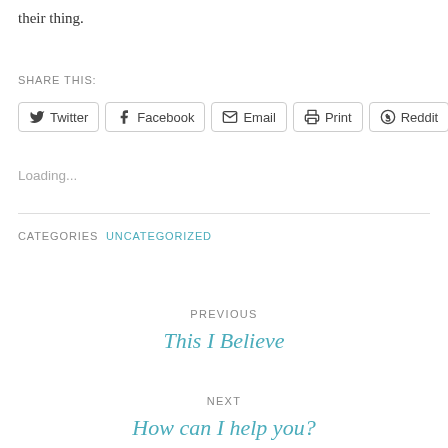their thing.
SHARE THIS:
Twitter Facebook Email Print Reddit
Loading...
CATEGORIES UNCATEGORIZED
PREVIOUS
This I Believe
NEXT
How can I help you?